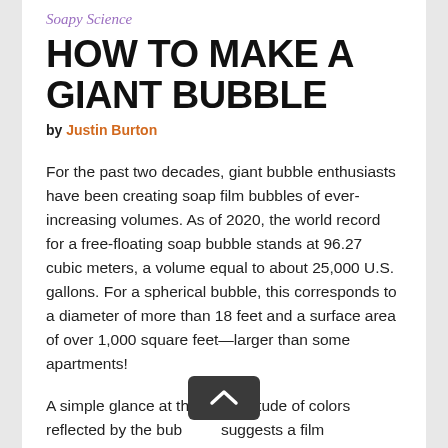Soapy Science
HOW TO MAKE A GIANT BUBBLE
by Justin Burton
For the past two decades, giant bubble enthusiasts have been creating soap film bubbles of ever-increasing volumes. As of 2020, the world record for a free-floating soap bubble stands at 96.27 cubic meters, a volume equal to about 25,000 U.S. gallons. For a spherical bubble, this corresponds to a diameter of more than 18 feet and a surface area of over 1,000 square feet—larger than some apartments!
A simple glance at the multitude of colors reflected by the bubble suggests a film